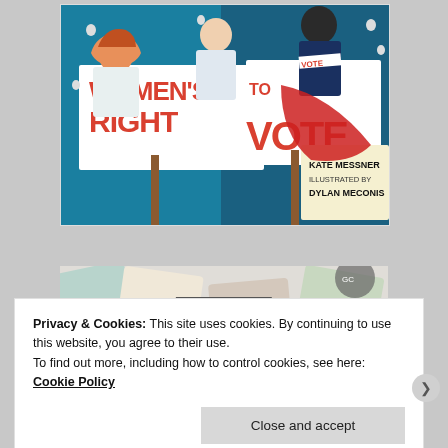[Figure (illustration): Book cover illustration for 'Women's Right to Vote' by Kate Messner, illustrated by Dylan Meconis. Shows suffragettes holding protest signs with bold red text reading 'WOMEN'S RIGHT TO VOTE'. Characters include women in period clothing with a 'VOTE' sash visible. Art is colorful with teal, red, and cream tones.]
[Figure (photo): Partial banner advertisement showing colorful gift cards/paper with a 'Learn more →' button overlay.]
Privacy & Cookies: This site uses cookies. By continuing to use this website, you agree to their use.
To find out more, including how to control cookies, see here: Cookie Policy